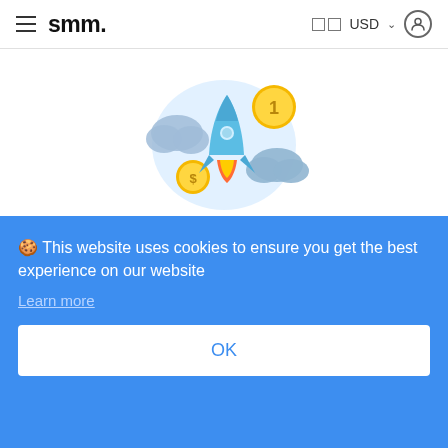smm. USD
[Figure (illustration): A rocket ship launching upward surrounded by clouds and gold coins with number 1, on a light blue circular background]
🍪 This website uses cookies to ensure you get the best experience on our website
Learn more
OK